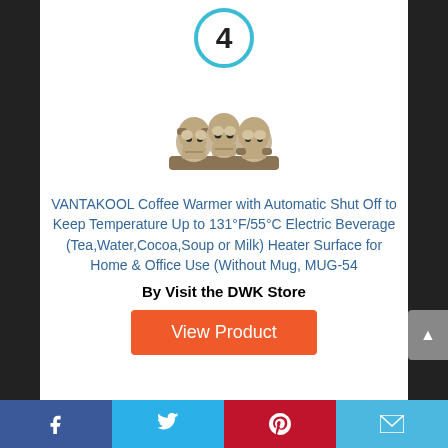[Figure (other): A circled number 4 badge with a cyan/blue border]
[Figure (photo): Three skull figurines (see no evil, hear no evil, speak no evil) in bronze/stone finish]
VANTAKOOL Coffee Warmer with Automatic Shut Off to Keep Temperature Up to 131°F/55°C Electric Beverage (Tea,Water,Cocoa,Soup or Milk) Heater Surface for Home & Office Use (Without Mug, MUG-54
By Visit the DWK Store
View Product
Facebook | Twitter | Pinterest | Email